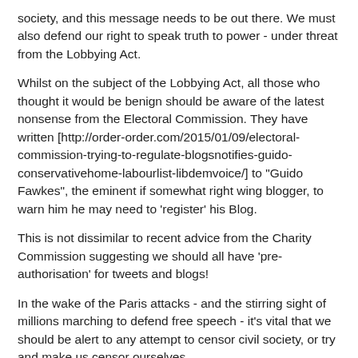society, and this message needs to be out there. We must also defend our right to speak truth to power - under threat from the Lobbying Act.
Whilst on the subject of the Lobbying Act, all those who thought it would be benign should be aware of the latest nonsense from the Electoral Commission. They have written [http://order-order.com/2015/01/09/electoral-commission-trying-to-regulate-blogsnotifies-guido-conservativehome-labourlist-libdemvoice/] to "Guido Fawkes", the eminent if somewhat right wing blogger, to warn him he may need to 'register' his Blog.
This is not dissimilar to recent advice from the Charity Commission suggesting we should all have 'pre-authorisation' for tweets and blogs!
In the wake of the Paris attacks - and the stirring sight of millions marching to defend free speech - it's vital that we should be alert to any attempt to censor civil society, or try and make us censor ourselves.